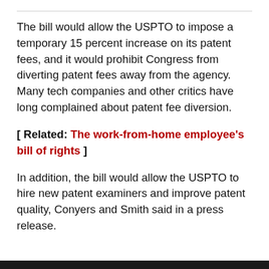The bill would allow the USPTO to impose a temporary 15 percent increase on its patent fees, and it would prohibit Congress from diverting patent fees away from the agency. Many tech companies and other critics have long complained about patent fee diversion.
[ Related: The work-from-home employee's bill of rights ]
In addition, the bill would allow the USPTO to hire new patent examiners and improve patent quality, Conyers and Smith said in a press release.